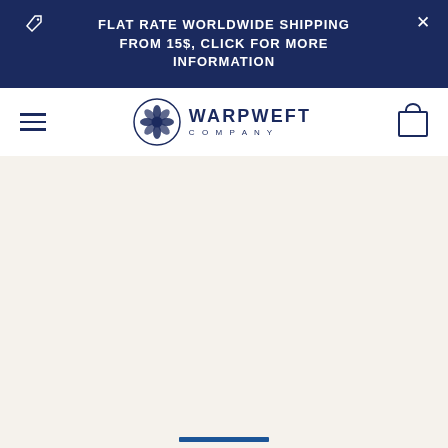FLAT RATE WORLDWIDE SHIPPING FROM 15$, CLICK FOR MORE INFORMATION
[Figure (logo): Warp Weft Company logo with stylized flower emblem inside a circle, navy blue]
[Figure (other): Blue horizontal progress/indicator bar at bottom center of page]